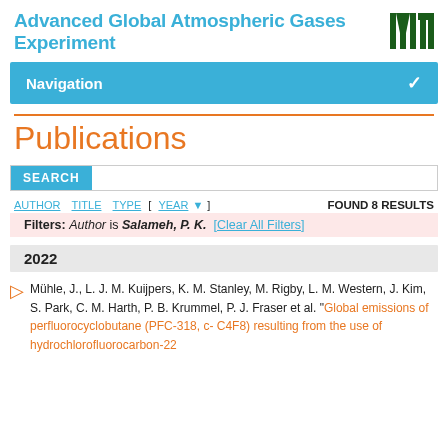Advanced Global Atmospheric Gases Experiment
Navigation
Publications
SEARCH
AUTHOR  TITLE  TYPE  [ YEAR ]  FOUND 8 RESULTS
Filters: Author is Salameh, P. K.  [Clear All Filters]
2022
Mühle, J., L. J. M. Kuijpers, K. M. Stanley, M. Rigby, L. M. Western, J. Kim, S. Park, C. M. Harth, P. B. Krummel, P. J. Fraser et al. "Global emissions of perfluorocyclobutane (PFC-318, c-C4F8) resulting from the use of hydrochlorofluorocarbon-22